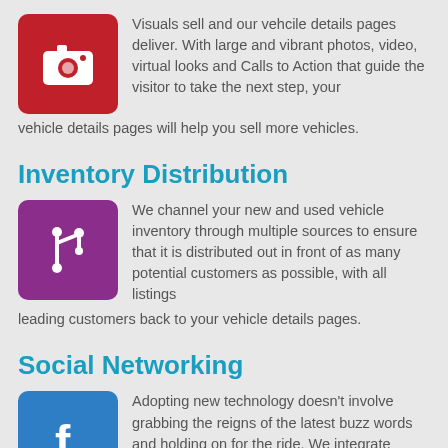[Figure (illustration): Red camera icon on red rounded square]
Visuals sell and our vehcile details pages deliver. With large and vibrant photos, video, virtual looks and Calls to Action that guide the visitor to take the next step, your vehicle details pages will help you sell more vehicles.
Inventory Distribution
[Figure (illustration): White git/branch fork icon on purple rounded square]
We channel your new and used vehicle inventory through multiple sources to ensure that it is distributed out in front of as many potential customers as possible, with all listings leading customers back to your vehicle details pages.
Social Networking
[Figure (illustration): White Facebook 'f' logo on blue rounded square]
Adopting new technology doesn't involve grabbing the reigns of the latest buzz words and holding on for the ride. We integrate social networking channels like Facebook and